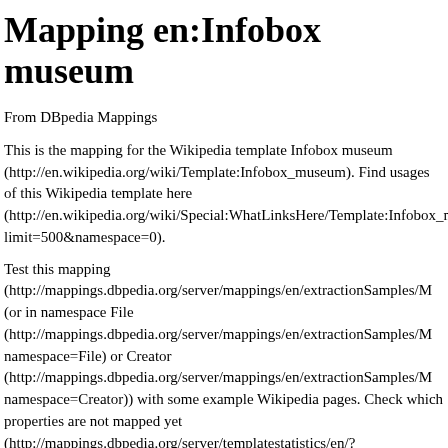Mapping en:Infobox museum
From DBpedia Mappings
This is the mapping for the Wikipedia template Infobox museum (http://en.wikipedia.org/wiki/Template:Infobox_museum). Find usages of this Wikipedia template here (http://en.wikipedia.org/wiki/Special:WhatLinksHere/Template:Infobox_museum&limit=500&namespace=0).
Test this mapping (http://mappings.dbpedia.org/server/mappings/en/extractionSamples/M (or in namespace File (http://mappings.dbpedia.org/server/mappings/en/extractionSamples/M namespace=File) or Creator (http://mappings.dbpedia.org/server/mappings/en/extractionSamples/M namespace=Creator)) with some example Wikipedia pages. Check which properties are not mapped yet (http://mappings.dbpedia.org/server/templatestatistics/en/?template=Infobox_museum).
Read more about mapping Wikipedia templates.